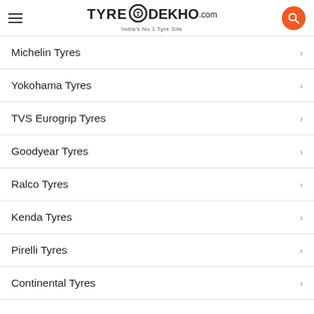TyreDekho.com — India's No.1 Tyre Site
Michelin Tyres
Yokohama Tyres
TVS Eurogrip Tyres
Goodyear Tyres
Ralco Tyres
Kenda Tyres
Pirelli Tyres
Continental Tyres